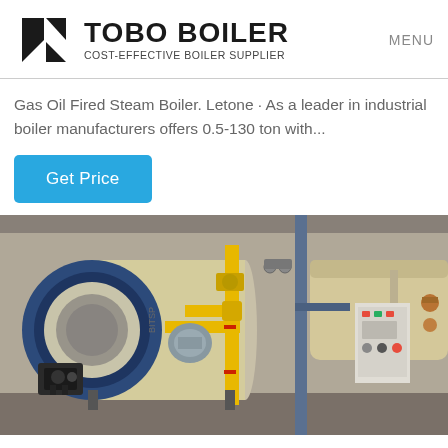TOBO BOILER — COST-EFFECTIVE BOILER SUPPLIER | MENU
Gas Oil Fired Steam Boiler. Letone · As a leader in industrial boiler manufacturers offers 0.5-130 ton with...
Get Price
[Figure (photo): Industrial gas oil fired steam boiler equipment showing a large horizontal cylindrical boiler vessel with blue front burner assembly, yellow gas piping, valves, control panel, and structural steel frame in a factory setting.]